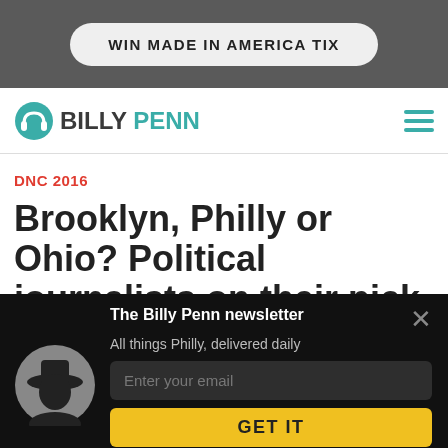WIN MADE IN AMERICA TIX
[Figure (logo): Billy Penn logo with headphones icon and teal/dark text]
DNC 2016
Brooklyn, Philly or Ohio? Political journalists on their pick for the 2016 DNC
[Figure (screenshot): Newsletter modal overlay: 'The Billy Penn newsletter', 'All things Philly, delivered daily', email input box, GET IT button, avatar silhouette image, close X button]